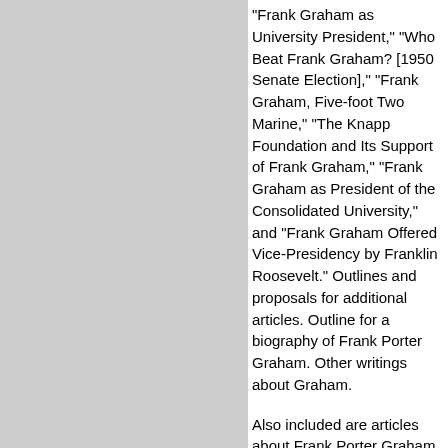"Frank Graham as University President," "Who Beat Frank Graham? [1950 Senate Election]," "Frank Graham, Five-foot Two Marine," "The Knapp Foundation and Its Support of Frank Graham," "Frank Graham as President of the Consolidated University," and "Frank Graham Offered Vice-Presidency by Franklin Roosevelt." Outlines and proposals for additional articles. Outline for a biography of Frank Porter Graham. Other writings about Graham.
Also included are articles about Frank Porter Graham and his involvement in Kashmir.